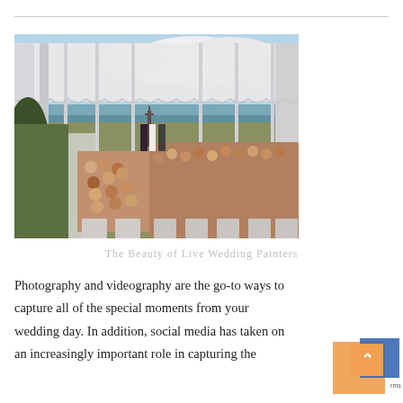[Figure (illustration): A painting of an outdoor wedding ceremony under a large white tent with draped fabric sides, overlooking a waterway/marsh. Guests are seated facing the altar where a couple stands before a cross. The painting uses impressionistic brushwork with blue sky and clouds visible beyond the tent.]
The Beauty of Live Wedding Painters
Photography and videography are the go-to ways to capture all of the special moments from your wedding day. In addition, social media has taken on an increasingly important role in capturing the